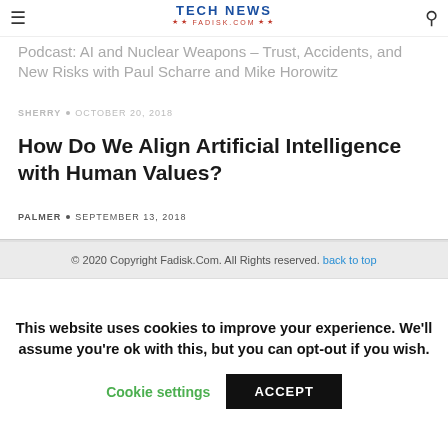TECH NEWS
Podcast: AI and Nuclear Weapons – Trust, Accidents, and New Risks with Paul Scharre and Mike Horowitz
SHERRY • OCTOBER 20, 2018
How Do We Align Artificial Intelligence with Human Values?
PALMER • SEPTEMBER 13, 2018
© 2020 Copyright Fadisk.Com. All Rights reserved. back to top
This website uses cookies to improve your experience. We'll assume you're ok with this, but you can opt-out if you wish.
Cookie settings   ACCEPT